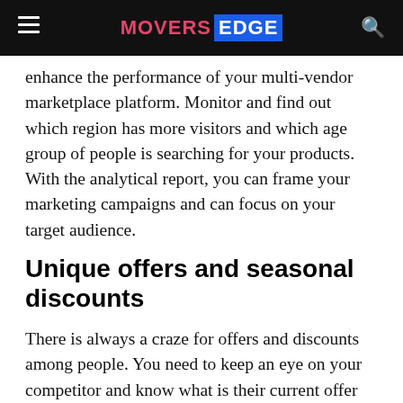MOVERS EDGE
enhance the performance of your multi-vendor marketplace platform. Monitor and find out which region has more visitors and which age group of people is searching for your products. With the analytical report, you can frame your marketing campaigns and can focus on your target audience.
Unique offers and seasonal discounts
There is always a craze for offers and discounts among people. You need to keep an eye on your competitor and know what is their current offer plan? You need to give a counteroffer to them. The